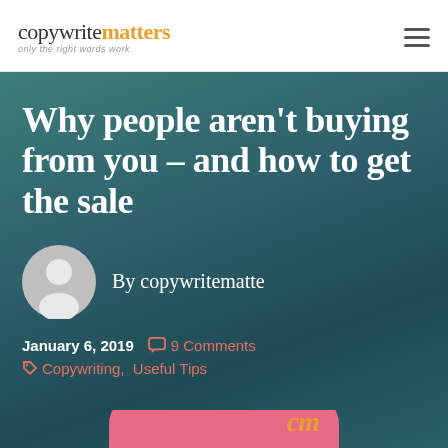copywritematters — only the right words work
Why people aren't buying from you – and how to get the sale
By copywritematte
January 6, 2019   9 Comments
Copywriting, Useful Tips